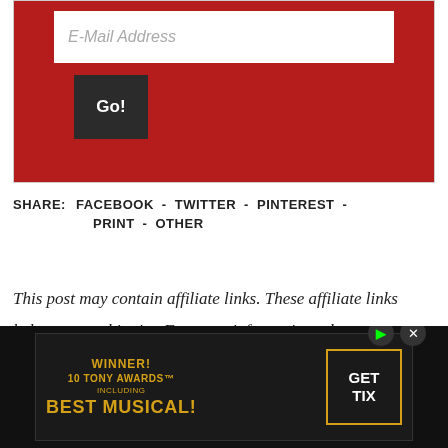[Figure (screenshot): Red email signup box with white input field showing placeholder 'E-Mail Address' and a dark 'Go!' button]
SHARE: FACEBOOK - TWITTER - PINTEREST - PRINT - OTHER
This post may contain affiliate links. These affiliate links help support this site. For more information, please see my disclosure policy. Thank you for supporting One Hundred Dollars a Month.
[Figure (screenshot): Advertisement banner: WINNER! 10 TONY AWARDS INCLUDING BEST MUSICAL! with GET TIX button in gold border on black background]